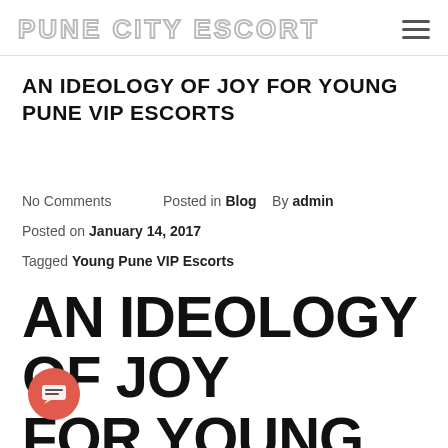PUNE CITY ESCORT
AN IDEOLOGY OF JOY FOR YOUNG PUNE VIP ESCORTS
No Comments   Posted in Blog   By admin   Posted on January 14, 2017   Tagged Young Pune VIP Escorts
AN IDEOLOGY OF JOY FOR YOUNG PUNE VIP